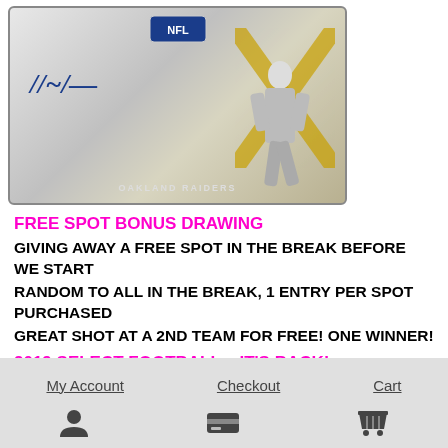[Figure (photo): Sports trading card showing an Oakland Raiders player with a blue signature and gold X design in the background, with NFL logo at top]
FREE SPOT BONUS DRAWING
GIVING AWAY A FREE SPOT IN THE BREAK BEFORE WE START
RANDOM TO ALL IN THE BREAK, 1 ENTRY PER SPOT PURCHASED
GREAT SHOT AT A 2ND TEAM FOR FREE! ONE WINNER!
2019 SELECT FOOTBALL – IT'S BACK!
SEARCH FOR PRIME, SUPER PRIME PATCH AUTOS W/ LAUNDRY TAGS, NFL SHIELDS!
My Account   Checkout   Cart